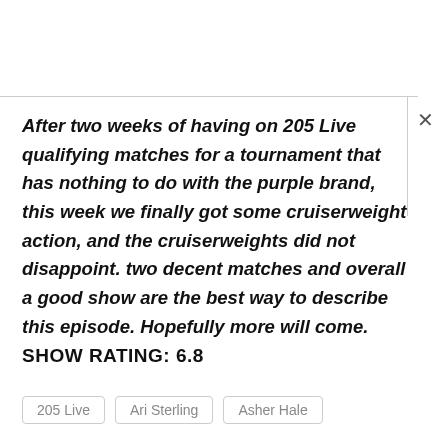After two weeks of having on 205 Live qualifying matches for a tournament that has nothing to do with the purple brand, this week we finally got some cruiserweight action, and the cruiserweights did not disappoint. two decent matches and overall a good show are the best way to describe this episode. Hopefully more will come.
SHOW RATING: 6.8
205 Live   Ari Sterling   Asher Hale